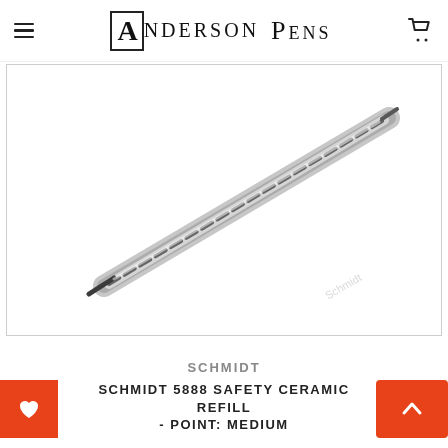Anderson Pens
[Figure (photo): A Schmidt 5888 Safety Ceramic Rollerball Refill pen refill positioned diagonally against a white background, blurred/out-of-focus product photo. The refill appears dark/black in color with a pointed tip.]
SCHMIDT
SCHMIDT 5888 SAFETY CERAMIC ROLLERBALL REFILL - POINT: MEDIUM